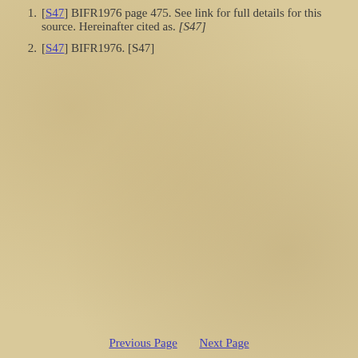[S47] BIFR1976 page 475. See link for full details for this source. Hereinafter cited as. [S47]
[S47] BIFR1976. [S47]
Previous Page    Next Page